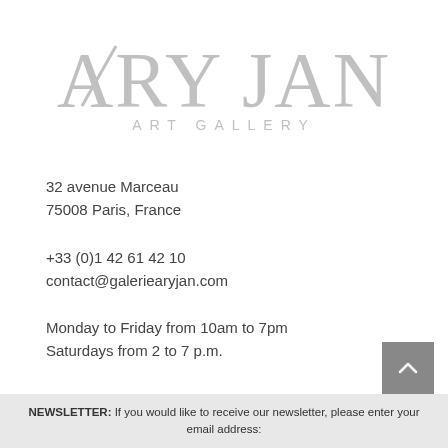[Figure (logo): ARY JAN ART GALLERY logo in large light gray stylized serif lettering with 'ART GALLERY' in spaced capitals beneath]
32 avenue Marceau
75008 Paris, France
+33 (0)1 42 61 42 10
contact@galeriearyjan.com
Monday to Friday from 10am to 7pm
Saturdays from 2 to 7 p.m.
NEWSLETTER: If you would like to receive our newsletter, please enter your email address: